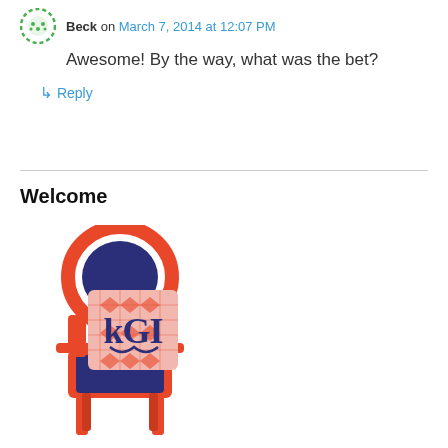Beck on March 7, 2014 at 12:07 PM
Awesome! By the way, what was the bet?
↳ Reply
Welcome
[Figure (illustration): Illustrated coral/orange ghost chair with navy blue seat and back cushion, with a pink ikat-patterned monogram pillow leaning against the back. The pillow has navy blue letters 'KGI' in a large decorative monogram font.]